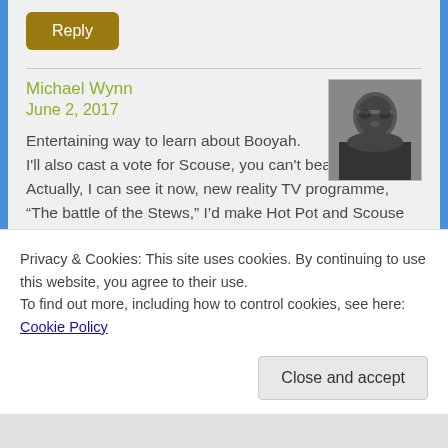Reply
Michael Wynn
June 2, 2017
[Figure (photo): Black and white avatar photo of Michael Wynn, showing a man with glasses]
Entertaining way to learn about Booyah. I'll also cast a vote for Scouse, you can't beat a good one. Actually, I can see it now, new reality TV programme, “The battle of the Stews,” I’d make Hot Pot and Scouse favourites to reach the final but, they
Privacy & Cookies: This site uses cookies. By continuing to use this website, you agree to their use.
To find out more, including how to control cookies, see here: Cookie Policy
Close and accept